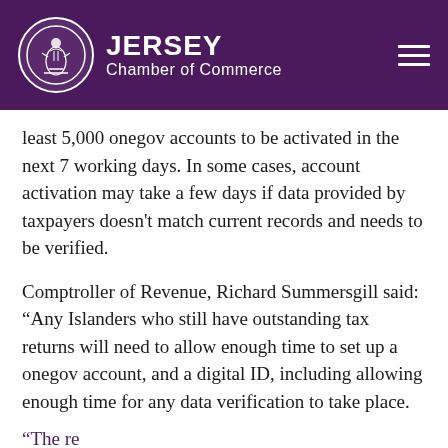Jersey Chamber of Commerce
least 5,000 onegov accounts to be activated in the next 7 working days. In some cases, account activation may take a few days if data provided by taxpayers doesn't match current records and needs to be verified.
Comptroller of Revenue, Richard Summersgill said: “Any Islanders who still have outstanding tax returns will need to allow enough time to set up a onegov account, and a digital ID, including allowing enough time for any data verification to take place.
“The re…